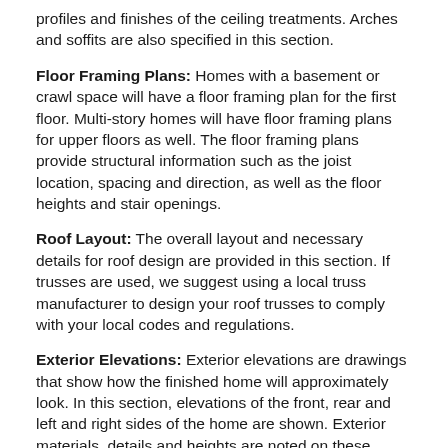profiles and finishes of the ceiling treatments. Arches and soffits are also specified in this section.
Floor Framing Plans: Homes with a basement or crawl space will have a floor framing plan for the first floor. Multi-story homes will have floor framing plans for upper floors as well. The floor framing plans provide structural information such as the joist location, spacing and direction, as well as the floor heights and stair openings.
Roof Layout: The overall layout and necessary details for roof design are provided in this section. If trusses are used, we suggest using a local truss manufacturer to design your roof trusses to comply with your local codes and regulations.
Exterior Elevations: Exterior elevations are drawings that show how the finished home will approximately look. In this section, elevations of the front, rear and left and right sides of the home are shown. Exterior materials, details and heights are noted on these drawings.